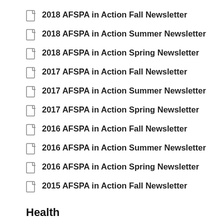2018 AFSPA in Action Fall Newsletter
2018 AFSPA in Action Summer Newsletter
2018 AFSPA in Action Spring Newsletter
2017 AFSPA in Action Fall Newsletter
2017 AFSPA in Action Summer Newsletter
2017 AFSPA in Action Spring Newsletter
2016 AFSPA in Action Fall Newsletter
2016 AFSPA in Action Summer Newsletter
2016 AFSPA in Action Spring Newsletter
2015 AFSPA in Action Fall Newsletter
Health